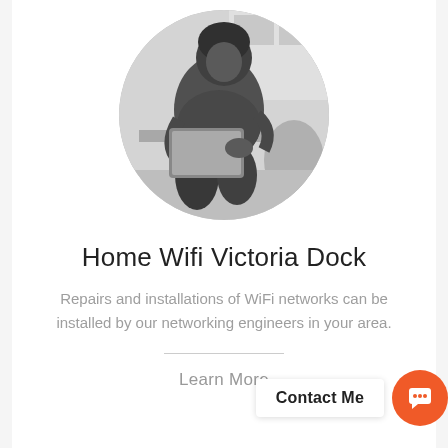[Figure (photo): Black and white circular photo of a person sitting and working on a tablet/laptop device]
Home Wifi Victoria Dock
Repairs and installations of WiFi networks can be installed by our networking engineers in your area.
Learn More
Contact Me